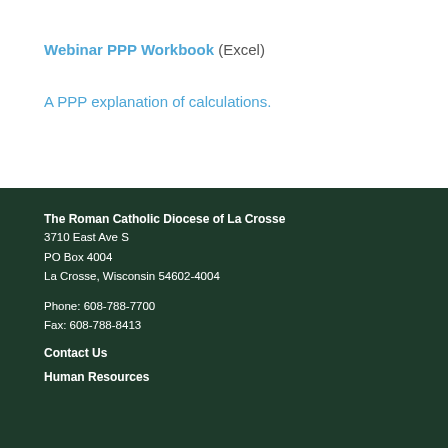Webinar PPP Workbook (Excel)
A PPP explanation of calculations.
The Roman Catholic Diocese of La Crosse
3710 East Ave S
PO Box 4004
La Crosse, Wisconsin 54602-4004

Phone: 608-788-7700
Fax: 608-788-8413
Contact Us
Human Resources